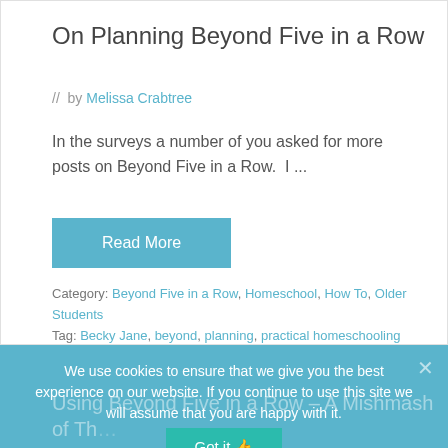On Planning Beyond Five in a Row
// by Melissa Crabtree
In the surveys a number of you asked for more posts on Beyond Five in a Row. I ...
Read More
Category: Beyond Five in a Row, Homeschool, How To, Older Students
Tag: Becky Jane, beyond, planning, practical homeschooling
We use cookies to ensure that we give you the best experience on our website. If you continue to use this site we will assume that you are happy with it.
Got it 👍
Using Beyond Five in a Row – A Mishmash of Th...